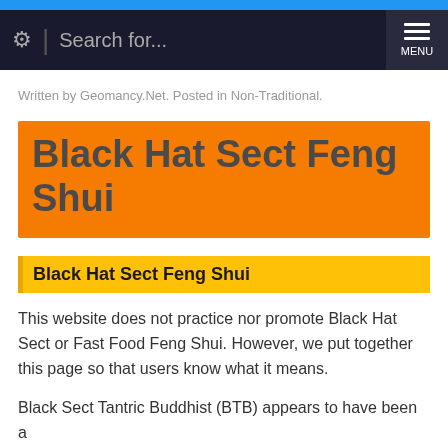Search for...  MENU
Written by Geomancy.Net. Posted in Non-Traditional.
Black Hat Sect Feng Shui
Black Hat Sect Feng Shui
This website does not practice nor promote Black Hat Sect or Fast Food Feng Shui. However, we put together this page so that users know what it means.
Black Sect Tantric Buddhist (BTB) appears to have been a